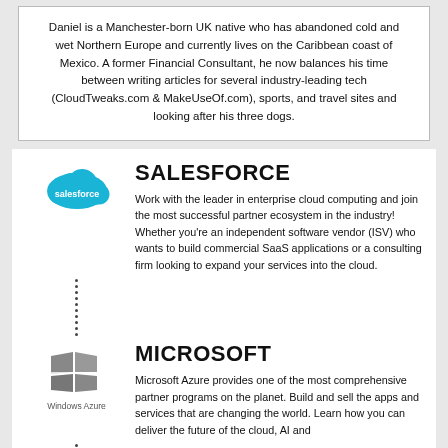Daniel is a Manchester-born UK native who has abandoned cold and wet Northern Europe and currently lives on the Caribbean coast of Mexico. A former Financial Consultant, he now balances his time between writing articles for several industry-leading tech (CloudTweaks.com & MakeUseOf.com), sports, and travel sites and looking after his three dogs.
[Figure (logo): Salesforce cloud logo in blue with white 'salesforce' text]
SALESFORCE
Work with the leader in enterprise cloud computing and join the most successful partner ecosystem in the industry! Whether you're an independent software vendor (ISV) who wants to build commercial SaaS applications or a consulting firm looking to expand your services into the cloud.
[Figure (logo): Windows Azure logo - grey Microsoft Windows flag icon with 'Windows Azure' text below]
MICROSOFT
Microsoft Azure provides one of the most comprehensive partner programs on the planet. Build and sell the apps and services that are changing the world. Learn how you can deliver the future of the cloud, AI and